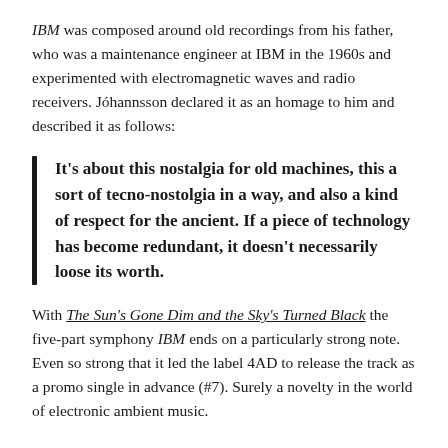IBM was composed around old recordings from his father, who was a maintenance engineer at IBM in the 1960s and experimented with electromagnetic waves and radio receivers. Jóhannsson declared it as an homage to him and described it as follows:
It's about this nostalgia for old machines, this a sort of tecno-nostolgia in a way, and also a kind of respect for the ancient. If a piece of technology has become redundant, it doesn't necessarily loose its worth.
With The Sun's Gone Dim and the Sky's Turned Black the five-part symphony IBM ends on a particularly strong note. Even so strong that it led the label 4AD to release the track as a promo single in advance (#7). Surely a novelty in the world of electronic ambient music.